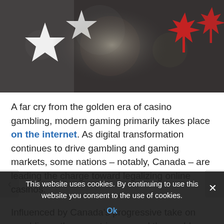[Figure (photo): Decorative header image showing white stars and red maple leaves against a dark bokeh background, suggesting a US-Canada theme related to gambling.]
A far cry from the golden era of casino gambling, modern gaming primarily takes place on the internet. As digital transformation continues to drive gambling and gaming markets, some nations – notably, Canada – are leading the charge toward legalizing online casinos.
Influenced by Canada's progressive take on gambling, other countries around the world have begun to liberalize their laws regulating online wagering. Many jurisdictions, including the United States, are now engaging in what has become an increasingly long and drawn-out battle over what
This website uses cookies. By continuing to use this website you consent to the use of cookies.
Ok